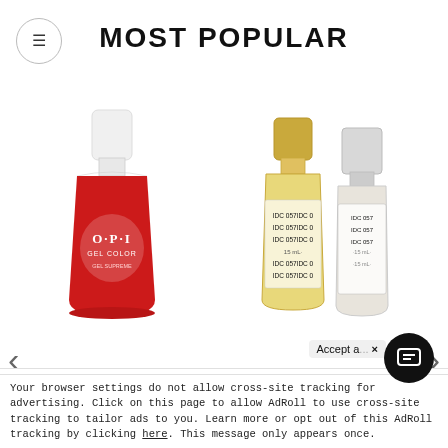MOST POPULAR
[Figure (photo): OPI GelColor nail polish bottle in red with white cap. Logo reads O·P·I GEL COLOR on bottle.]
[Figure (photo): Two DND DC Duo nail polish bottles side by side - one with gold cap (gel) and one with silver cap (polish), labeled IDC 0571DC 05, white/cream color.]
OPI GelColor - Big Apple Red 0.5 oz - #GCN25
DND - DC Duo - White Bunny - #DC057
Accept a... × Your browser settings do not allow cross-site tracking for advertising. Click on this page to allow AdRoll to use cross-site tracking to tailor ads to you. Learn more or opt out of this AdRoll tracking by clicking here. This message only appears once.